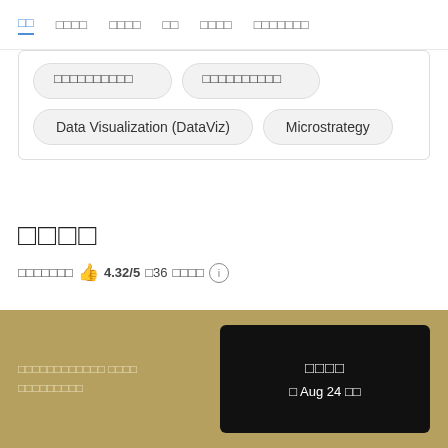□□  □□□□  □□□□  □□  □□□□  □□□□□□□
Data Visualization (DataViz)   Microstrategy
□□□□
□□□□□□□ 👍 4.32/5 □36 □□□□ ⓘ
□□□□□□□□□□□□ □□□□ □□□□□□□□□
□□□□ □ Aug 24 □□